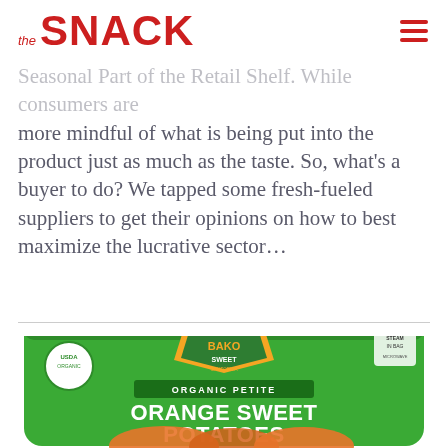the SNACK
more mindful of what is being put into the product just as much as the taste. So, what's a buyer to do? We tapped some fresh-fueled suppliers to get their opinions on how to best maximize the lucrative sector…
[Figure (photo): Bako Sweet Organic Petite Orange Sweet Potatoes green bag packaging with USDA Organic seal and steam-in-bag feature]